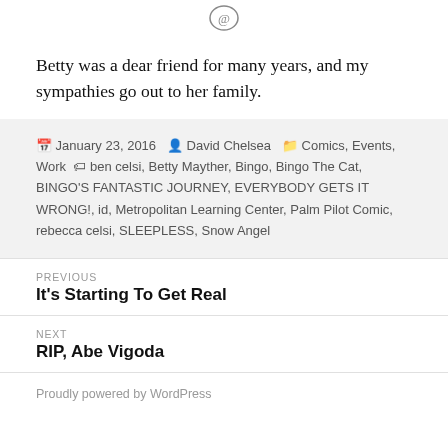[Figure (logo): Small circular logo/icon at top center of page]
Betty was a dear friend for many years, and my sympathies go out to her family.
Posted January 23, 2016 by David Chelsea in Comics, Events, Work tagged with ben celsi, Betty Mayther, Bingo, Bingo The Cat, BINGO'S FANTASTIC JOURNEY, EVERYBODY GETS IT WRONG!, id, Metropolitan Learning Center, Palm Pilot Comic, rebecca celsi, SLEEPLESS, Snow Angel
Previous
It's Starting To Get Real
Next
RIP, Abe Vigoda
Proudly powered by WordPress